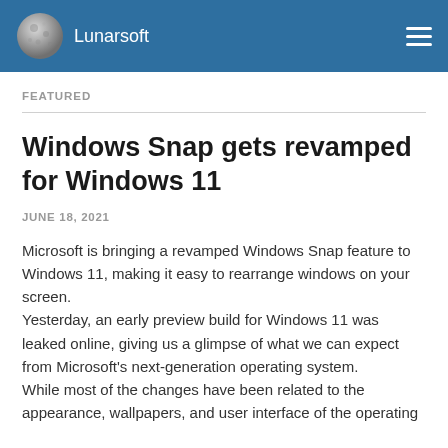Lunarsoft
FEATURED
Windows Snap gets revamped for Windows 11
JUNE 18, 2021
Microsoft is bringing a revamped Windows Snap feature to Windows 11, making it easy to rearrange windows on your screen.
Yesterday, an early preview build for Windows 11 was leaked online, giving us a glimpse of what we can expect from Microsoft's next-generation operating system.
While most of the changes have been related to the appearance, wallpapers, and user interface of the operating